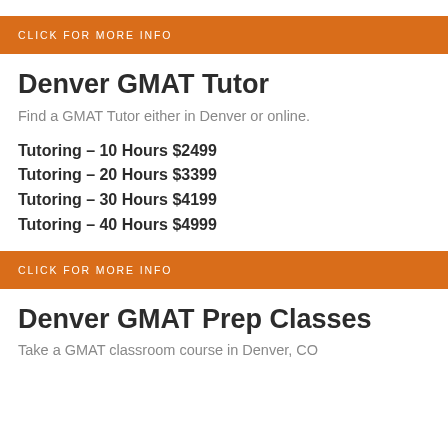CLICK FOR MORE INFO
Denver GMAT Tutor
Find a GMAT Tutor either in Denver or online.
Tutoring – 10 Hours $2499
Tutoring – 20 Hours $3399
Tutoring – 30 Hours $4199
Tutoring – 40 Hours $4999
CLICK FOR MORE INFO
Denver GMAT Prep Classes
Take a GMAT classroom course in Denver, CO